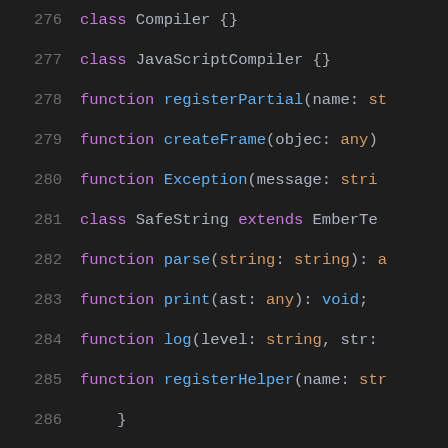[Figure (screenshot): Syntax-highlighted TypeScript/JavaScript code snippet showing class and function declarations for a Compiler-related module, lines 276–293, displayed in a dark IDE theme.]